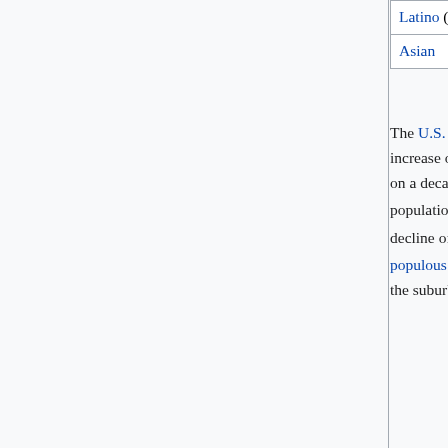|  |  |  |
| --- | --- | --- |
| Latino (of any race) | 11.3% | 9.1% |
| Asian | 4.8% | 3.5% |
The U.S. Census Bureau estimates that the district's population was 705,749 as of July 2019, an increase of more than 100,000 people compared to the 2010 United States Census. When measured on a decade-over-decade basis, this continues a growth trend since 2000, following a half-century of population decline.[116] But on a year-over-year basis, the July 2019 census count shows a population decline of 16,000 individuals over the preceding 12-month period.[117] Washington was the 24th most populous place in the United States as of 2010.[118] According to data from 2010, commuters from the suburbs increase the district's daytime population